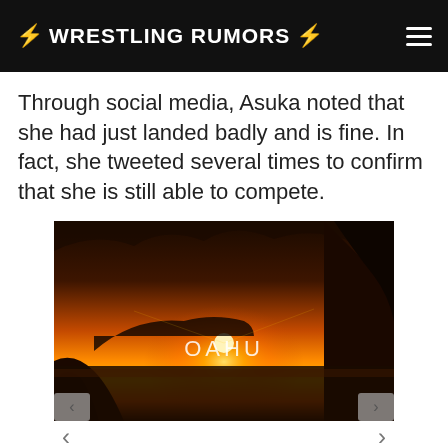WRESTLING RUMORS
Through social media, Asuka noted that she had just landed badly and is fine. In fact, she tweeted several times to confirm that she is still able to compete.
[Figure (photo): Sunset/sunrise landscape photo over ocean with rocky cliffs, text overlay reading OAHU. Part of a travel advertisement slideshow.]
DISCOVER AMAZING TRAVEL SIDESTAGE.COM